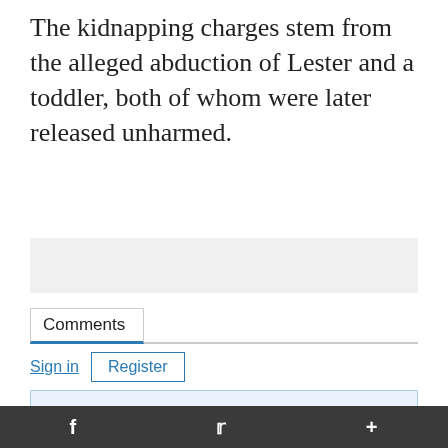The kidnapping charges stem from the alleged abduction of Lester and a toddler, both of whom were later released unharmed.
[Figure (other): Gray advertisement placeholder box]
Comments
Sign in   Register
Welcome to our new commenting experience. Please sign in above using your Times Free Press login credentials to begin sharing your thoughts and opinion. If you're already logged into the site, the sign in form will update your information automatically.
f  [twitter bird]  +